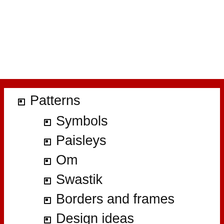Patterns
Symbols
Paisleys
Om
Swastik
Borders and frames
Design ideas
Color schemes
Pattern schemes
Simple to complex
Celebrations
Around the world
New Year